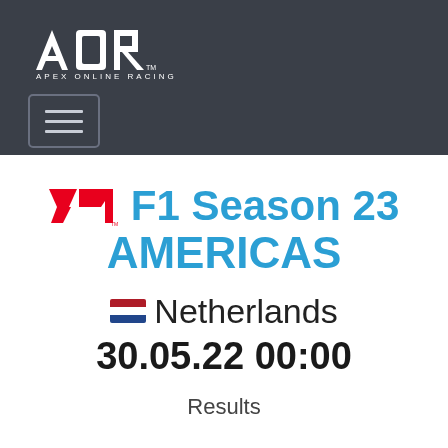AOR APEX ONLINE RACING
[Figure (logo): AOR Apex Online Racing logo - white text on dark grey background with hamburger menu icon]
F1 Season 23 AMERICAS
🇳🇱 Netherlands
30.05.22 00:00
Results